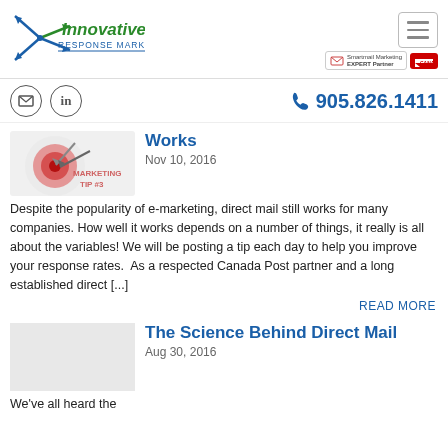[Figure (logo): Innovative Response Marketing Inc. logo with compass/arrow motif in blue and green]
[Figure (infographic): Hamburger menu button and partner badges for Canada Post Smartmail Marketing EXPERT Partner]
[Figure (infographic): Social icons (email, LinkedIn) and phone number 905.826.1411]
[Figure (infographic): Marketing Tip #3 image with target and arrows graphic]
Works
Nov 10, 2016
Despite the popularity of e-marketing, direct mail still works for many companies. How well it works depends on a number of things, it really is all about the variables! We will be posting a tip each day to help you improve your response rates.  As a respected Canada Post partner and a long established direct [...]
READ MORE
The Science Behind Direct Mail
Aug 30, 2016
We've all heard the